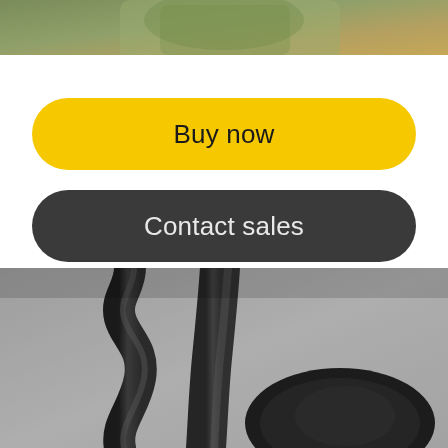[Figure (photo): Partial view of a person wearing green/olive knitwear, cropped at top of page]
Buy now
Contact sales
[Figure (photo): Close-up macro photo of dark gray/black metal handles or bars of a fitness or exercise equipment piece, on a gray background]